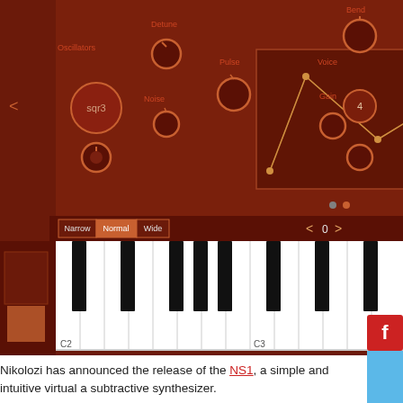[Figure (screenshot): Screenshot of NS1 synthesizer app showing a virtual synthesizer keyboard interface with dark red/brown UI, oscillator controls (sqr3, Detune, Pulse, Noise knobs), an envelope/XY pad display, Narrow/Normal/Wide keyboard size buttons, navigation arrows, and a piano keyboard with black and white keys labeled C2 and C3. A Flash plugin icon and blue sidebar are visible on the right edge.]
Nikolozi has announced the release of the NS1, a simple and intuitive virtual a subtractive synthesizer.
It works as an Audio Unit extension inside a host application such as GarageBand or MultitrackStudio. The clean interface consisting of knobs and XX pads lets you easily dial in and experiment with sounds.